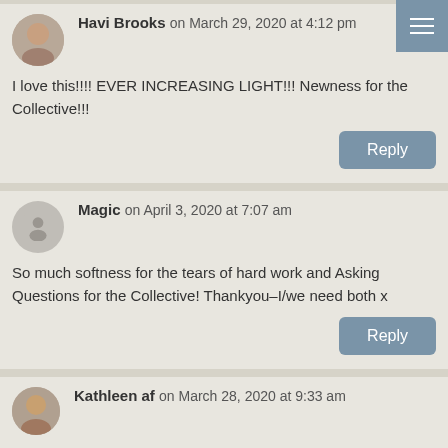Havi Brooks on March 29, 2020 at 4:12 pm
I love this!!!! EVER INCREASING LIGHT!!! Newness for the Collective!!!
Magic on April 3, 2020 at 7:07 am
So much softness for the tears of hard work and Asking Questions for the Collective! Thankyou–I/we need both x
Kathleen af on March 28, 2020 at 9:33 am